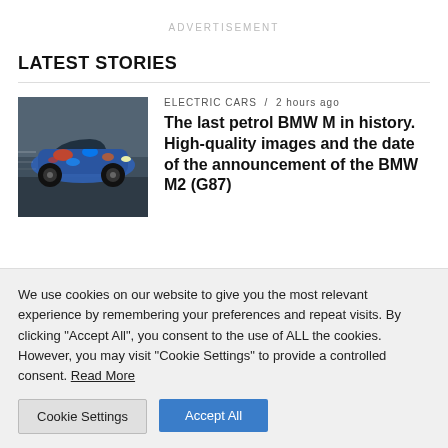ADVERTISEMENT
LATEST STORIES
[Figure (photo): A blue camouflage-wrapped BMW M2 (G87) sports car in motion on a track]
ELECTRIC CARS / 2 hours ago
The last petrol BMW M in history. High-quality images and the date of the announcement of the BMW M2 (G87)
We use cookies on our website to give you the most relevant experience by remembering your preferences and repeat visits. By clicking "Accept All", you consent to the use of ALL the cookies. However, you may visit "Cookie Settings" to provide a controlled consent. Read More